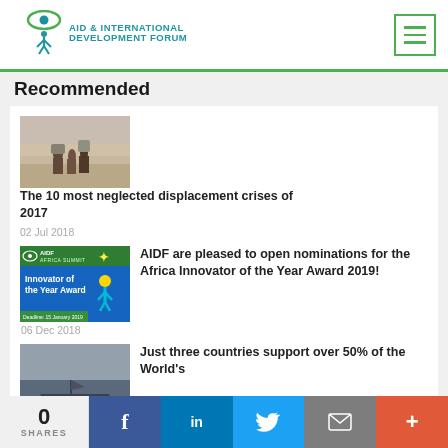AID & INTERNATIONAL DEVELOPMENT FORUM
Recommended
[Figure (photo): Refugees walking along a dirt road carrying belongings]
The 10 most neglected displacement crises of 2017
02 Jul 2018
[Figure (logo): AIDF Africa Summit - Innovator of the Year Award banner]
AIDF are pleased to open nominations for the Africa Innovator of the Year Award 2019!
06 Dec 2018
[Figure (photo): Boats on dark water under overcast sky]
Just three countries support over 50% of the World's
0 SHARES  Facebook  LinkedIn  Twitter  Email  +